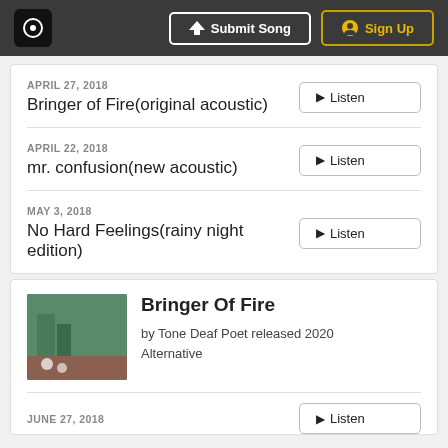Submit Song | Sign Up
APRIL 27, 2018
Bringer of Fire(original acoustic)
APRIL 22, 2018
mr. confusion(new acoustic)
MAY 3, 2018
No Hard Feelings(rainy night edition)
Bringer Of Fire
by Tone Deaf Poet released 2020
Alternative
JUNE 27, 2018